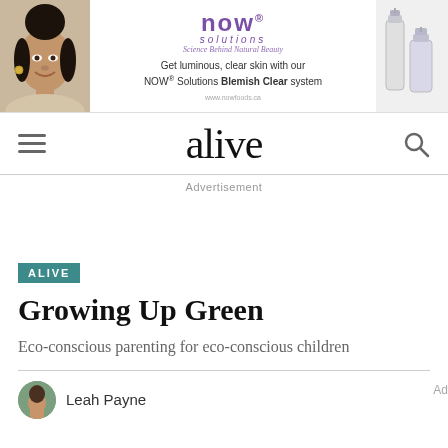[Figure (photo): NOW Solutions advertisement banner featuring a woman's face on the left, NOW Solutions logo and 'Get luminous, clear skin with our NOW Solutions Blemish Clear system' text in the center, and product bottles on the right]
alive
Advertisement
ALIVE
Growing Up Green
Eco-conscious parenting for eco-conscious children
Leah Payne
Ad